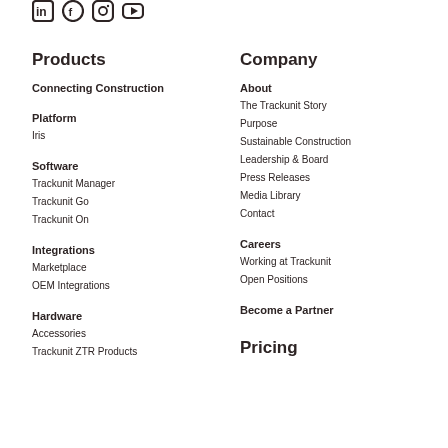[Figure (illustration): Social media icons row: LinkedIn, Facebook, Instagram, YouTube]
Products
Company
Connecting Construction
About
Platform
The Trackunit Story
Iris
Purpose
Sustainable Construction
Software
Leadership & Board
Trackunit Manager
Press Releases
Trackunit Go
Media Library
Trackunit On
Contact
Integrations
Careers
Marketplace
Working at Trackunit
OEM Integrations
Open Positions
Hardware
Become a Partner
Accessories
Trackunit ZTR Products
Pricing